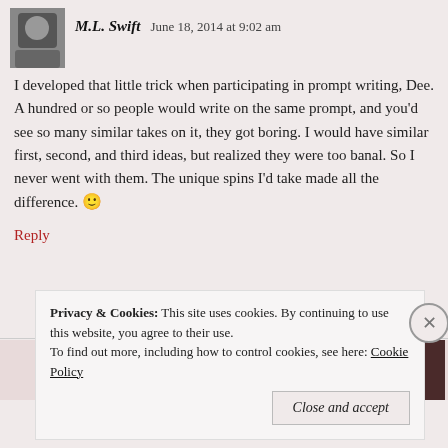M.L. Swift   June 18, 2014 at 9:02 am
I developed that little trick when participating in prompt writing, Dee. A hundred or so people would write on the same prompt, and you'd see so many similar takes on it, they got boring. I would have similar first, second, and third ideas, but realized they were too banal. So I never went with them. The unique spins I'd take made all the difference. 🙂
Reply
Privacy & Cookies: This site uses cookies. By continuing to use this website, you agree to their use.
To find out more, including how to control cookies, see here: Cookie Policy
Close and accept